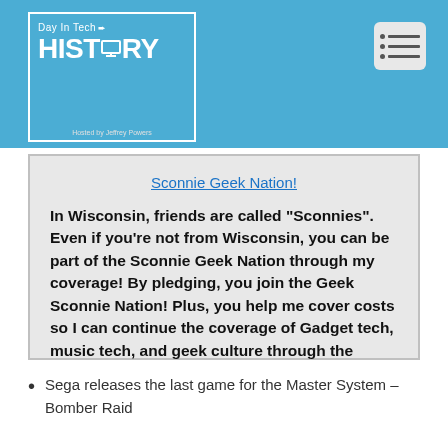[Figure (logo): Day In Tech HISTORY podcast logo — white text on blue background with monitor icon, hosted by Jeffrey Powers]
Sconnie Geek Nation!
In Wisconsin, friends are called "Sconnies". Even if you're not from Wisconsin, you can be part of the Sconnie Geek Nation through my coverage! By pledging, you join the Geek Sconnie Nation! Plus, you help me cover costs so I can continue the coverage of Gadget tech, music tech, and geek culture through the shows.
Sega releases the last game for the Master System – Bomber Raid